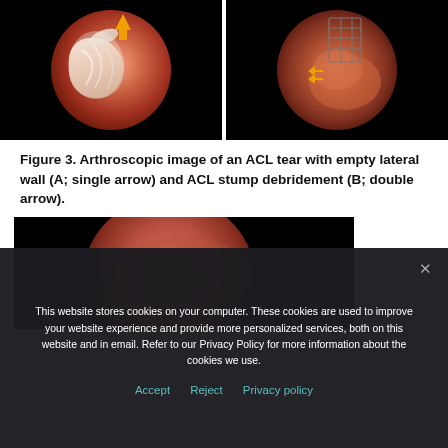[Figure (photo): Two arthroscopic images side by side. Left (A): arthroscopic view of ACL tear with empty lateral wall, single yellow arrow pointing down. Right (B): ACL stump debridement with surgical instrument and double yellow arrow.]
Figure 3. Arthroscopic image of an ACL tear with empty lateral wall (A; single arrow) and ACL stump debridement (B; double arrow).
[Figure (photo): Arthroscopic image (partial, bottom cut off) showing a circular arthroscope view with reddish tissue on black background.]
This website stores cookies on your computer. These cookies are used to improve your website experience and provide more personalized services, both on this website and in email. Refer to our Privacy Policy for more information about the cookies we use.